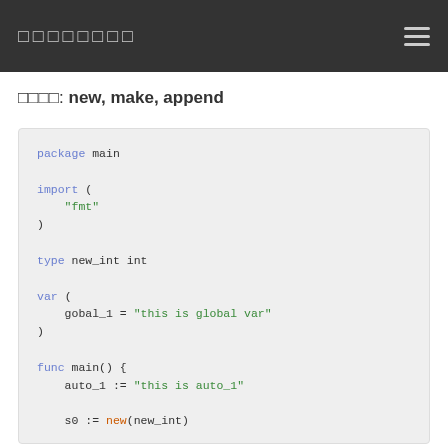□□□□□□□□
□□□□: new, make, append
[Figure (screenshot): Go code block showing package main, import fmt, type new_int int, var block with global_1, func main with auto_1, s0 := new(new_int), s1 := make([]int, 10), s2 := make([]int, 10) with syntax highlighting]